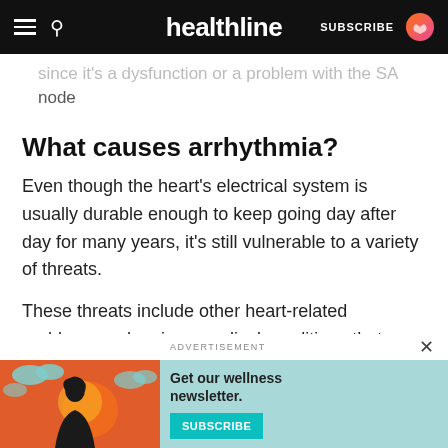healthline — SUBSCRIBE
since it's a dysfunction or a problem with the SA node
What causes arrhythmia?
Even though the heart's electrical system is usually durable enough to keep going day after day for many years, it's still vulnerable to a variety of threats.
These threats include other heart-related problems and various medical conditions that seem unrelated to the heart, such as COVID-19.
Some of the most common triggers for an arrhythmia
[Figure (screenshot): Advertisement banner: 'Get our wellness newsletter.' with a SUBSCRIBE button on a teal background, with an illustrated woman on orange background on the left side]